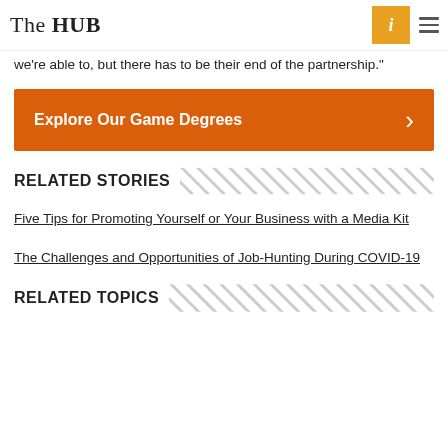The HUB
we're able to, but there has to be their end of the partnership."
[Figure (other): Orange CTA banner with text 'Explore Our Game Degrees' and a right chevron arrow]
RELATED STORIES
Five Tips for Promoting Yourself or Your Business with a Media Kit
The Challenges and Opportunities of Job-Hunting During COVID-19
RELATED TOPICS